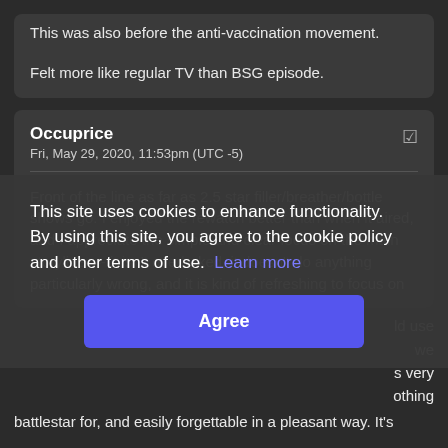This was also before the anti-vaccination movement.

Felt more like regular TV than BSG episode.
Occuprice
Fri, May 29, 2020, 11:53pm (UTC -5)
Front of the line as far as 2.5 star filler/breather/bottle shows go. I enjoyed the rewatch better than when it aired, and I appreciate the simple and clear focus on the main storyline—- it isn't overbaked, it doesn't do anything particularly wrong, and it is kind of refreshing to focus on
battlestar for, and easily forgettable in a pleasant way. It's
This site uses cookies to enhance functionality. By using this site, you agree to the cookie policy and other terms of use. Learn more
Agree